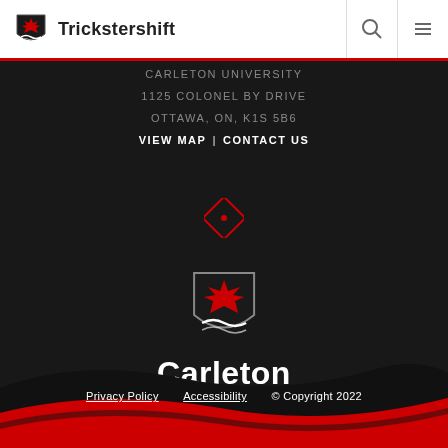Trickstershift
CARLETON UNIVERSITY
1125 COLONEL BY DRIVE
OTTAWA, ON, K1S 5B6
VIEW MAP | CONTACT US
[Figure (logo): Carleton University shield logo with red maple leaf and wave]
Carleton University
Privacy Policy   Accessibility   © Copyright 2022